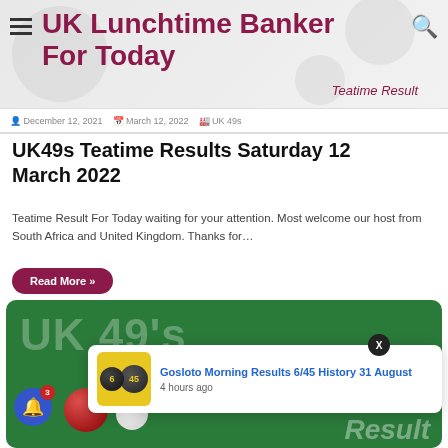UK Lunchtime Banker For Today
Teatime Result
December 12, 2021 · March 12, 2022 · UK 49s
UK49s Teatime Results Saturday 12 March 2022
Teatime Result For Today waiting for your attention. Most welcome our host from South Africa and United Kingdom. Thanks for…
Read More »
[Figure (screenshot): Green card with UK 49s lottery branding showing lottery balls and 'Result' text watermark]
Gosloto Morning Results 6/45 History 31 August
4 hours ago